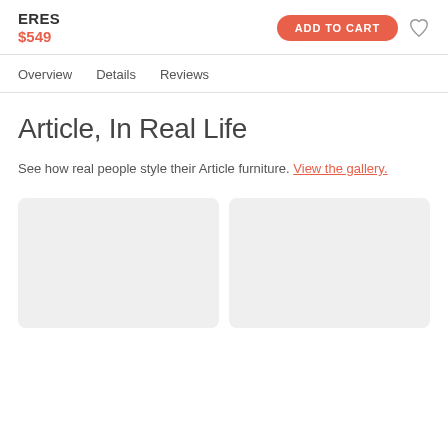ERES $549
Overview   Details   Reviews
Article, In Real Life
See how real people style their Article furniture. View the gallery.
[Figure (photo): Two placeholder gallery image thumbnails with rounded corners and light grey background]